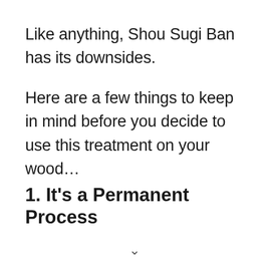Like anything, Shou Sugi Ban has its downsides.
Here are a few things to keep in mind before you decide to use this treatment on your wood…
1. It's a Permanent Process